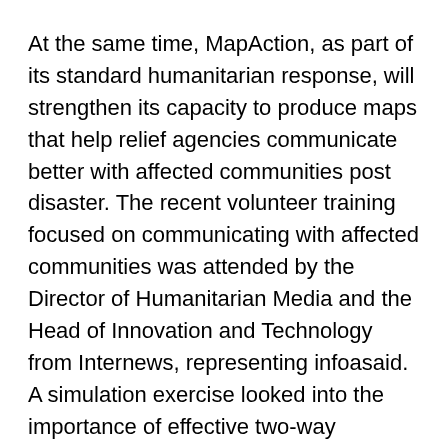At the same time, MapAction, as part of its standard humanitarian response, will strengthen its capacity to produce maps that help relief agencies communicate better with affected communities post disaster. The recent volunteer training focused on communicating with affected communities was attended by the Director of Humanitarian Media and the Head of Innovation and Technology from Internews, representing infoasaid. A simulation exercise looked into the importance of effective two-way communications with disaster affected populations and a series of maps to improve communication with affected populations based on the infoasaid media and telecommunication landscapes were devised.